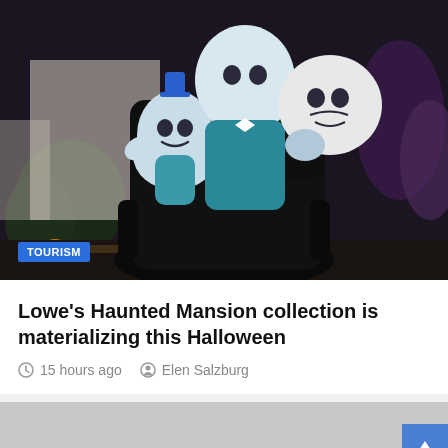[Figure (photo): Halloween inflatable decoration featuring Haunted Mansion ghost characters in a yard with Halloween decorations in the background]
TOURISM
Lowe's Haunted Mansion collection is materializing this Halloween
15 hours ago   Elen Salzburg
[Figure (other): Gray advertisement placeholder block with blue back-to-top arrow button]